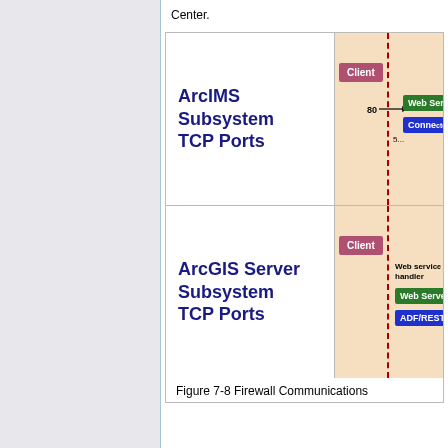Center.
[Figure (engineering-diagram): ArcIMS Subsystem TCP Ports diagram showing Client box, firewall dashed line, Web Server and Connector components, port 80 labeled]
[Figure (engineering-diagram): ArcGIS Server Subsystem TCP Ports diagram showing Client box, firewall dashed line, Web service handler, Web Server and ADF/REST components]
Figure 7-8 Firewall Communications